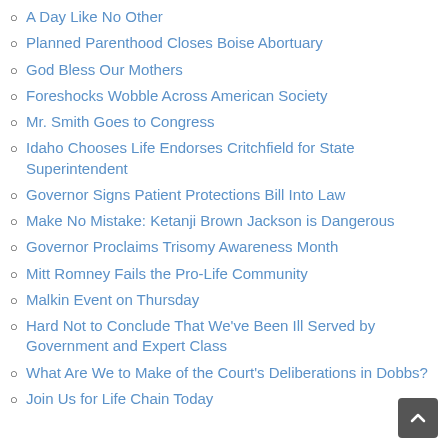A Day Like No Other
Planned Parenthood Closes Boise Abortuary
God Bless Our Mothers
Foreshocks Wobble Across American Society
Mr. Smith Goes to Congress
Idaho Chooses Life Endorses Critchfield for State Superintendent
Governor Signs Patient Protections Bill Into Law
Make No Mistake: Ketanji Brown Jackson is Dangerous
Governor Proclaims Trisomy Awareness Month
Mitt Romney Fails the Pro-Life Community
Malkin Event on Thursday
Hard Not to Conclude That We've Been Ill Served by Government and Expert Class
What Are We to Make of the Court's Deliberations in Dobbs?
Join Us for Life Chain Today